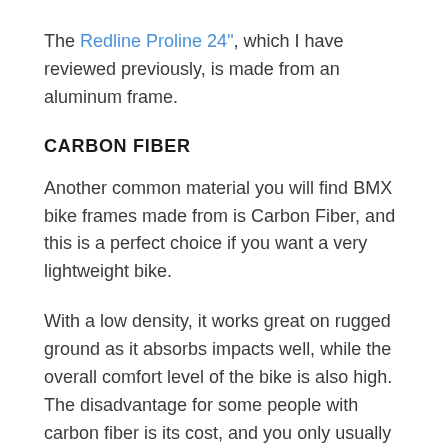The Redline Proline 24", which I have reviewed previously, is made from an aluminum frame.
CARBON FIBER
Another common material you will find BMX bike frames made from is Carbon Fiber, and this is a perfect choice if you want a very lightweight bike.
With a low density, it works great on rugged ground as it absorbs impacts well, while the overall comfort level of the bike is also high. The disadvantage for some people with carbon fiber is its cost, and you only usually find this material on higher-end BMX bikes.
TITANIUM